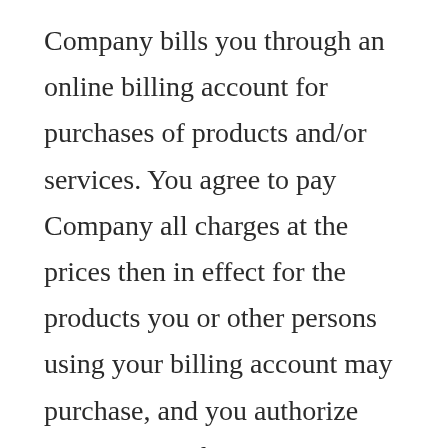Company bills you through an online billing account for purchases of products and/or services. You agree to pay Company all charges at the prices then in effect for the products you or other persons using your billing account may purchase, and you authorize Company to charge your chosen payment provider for any such purchases. You agree to make payment using that selected payment method. If you have ordered a product or service that is subject to recurring charges then you consent to our charging your payment method on a